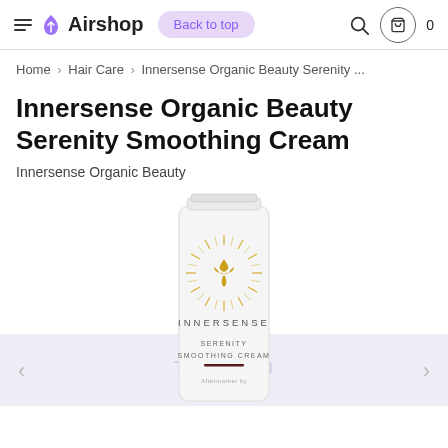Airshop | Back to top | Search | Cart 0
Home > Hair Care > Innersense Organic Beauty Serenity ...
Innersense Organic Beauty Serenity Smoothing Cream
Innersense Organic Beauty
[Figure (photo): White tube of Innersense Organic Beauty Serenity Smoothing Cream with gold sunburst logo on white background, with navigation arrows and 'Try for $0' overlay at bottom]